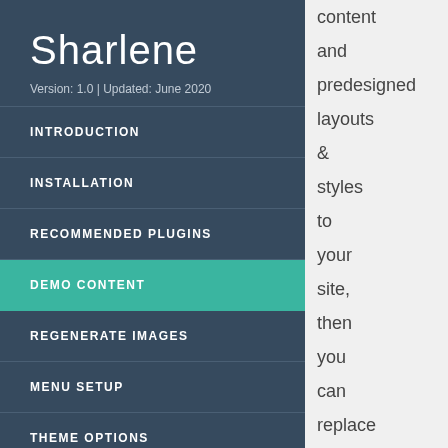Sharlene
Version: 1.0 | Updated: June 2020
INTRODUCTION
INSTALLATION
RECOMMENDED PLUGINS
DEMO CONTENT
REGENERATE IMAGES
MENU SETUP
THEME OPTIONS
content and predesigned layouts & styles to your site, then you can replace with your own content